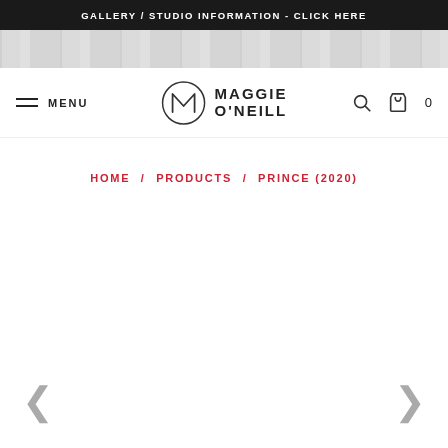GALLERY / STUDIO INFORMATION - CLICK HERE
[Figure (screenshot): Partial cropped image strip visible at top of page]
[Figure (logo): Maggie O'Neill logo with circular M emblem and text MAGGIE O'NEILL]
HOME / PRODUCTS / PRINCE (2020)